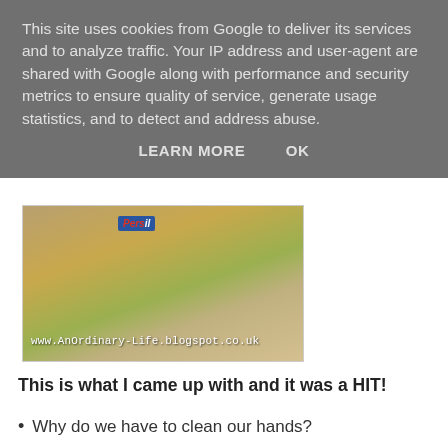This site uses cookies from Google to deliver its services and to analyze traffic. Your IP address and user-agent are shared with Google along with performance and security metrics to ensure quality of service, generate usage statistics, and to detect and address abuse.
LEARN MORE   OK
[Figure (photo): Photo of cleaning products including a Persil bottle on a wooden surface, with watermark text 'www.AnOrdinary-Life.blogspot.co.uk']
This is what I came up with and it was a HIT!
Why do we have to clean our hands?
and
Why do we always use soap when cleaning things, whether it be dishes, clothes or our own body?